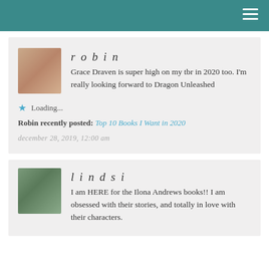robin
Grace Draven is super high on my tbr in 2020 too. I'm really looking forward to Dragon Unleashed
Loading...
Robin recently posted: Top 10 Books I Want in 2020
december 28, 2019, 12:00 am
lindsi
I am HERE for the Ilona Andrews books!! I am obsessed with their stories, and totally in love with their characters.